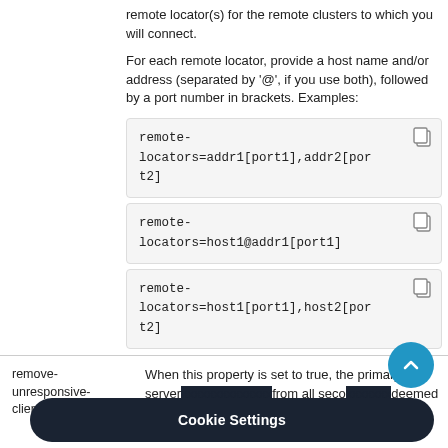remote locator(s) for the remote clusters to which you will connect.
For each remote locator, provide a host name and/or address (separated by '@', if you use both), followed by a port number in brackets. Examples:
remove-unresponsive-client
When this property is set to true, the primary server... from all seco... deemed unres...